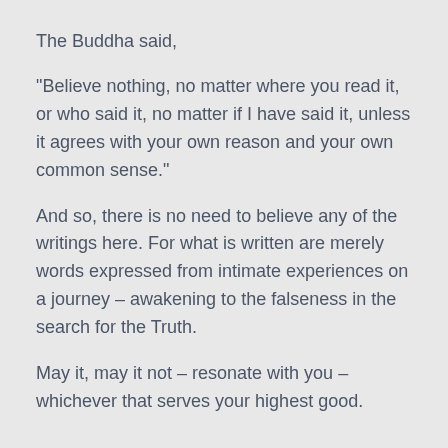The Buddha said,
“Believe nothing, no matter where you read it, or who said it, no matter if I have said it, unless it agrees with your own reason and your own common sense.”
And so, there is no need to believe any of the writings here. For what is written are merely words expressed from intimate experiences on a journey – awakening to the falseness in the search for the Truth.
May it, may it not – resonate with you – whichever that serves your highest good.